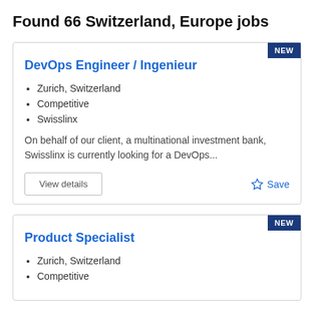Found 66 Switzerland, Europe jobs
DevOps Engineer / Ingenieur
Zurich, Switzerland
Competitive
Swisslinx
On behalf of our client, a multinational investment bank, Swisslinx is currently looking for a DevOps...
View details
Save
Product Specialist
Zurich, Switzerland
Competitive